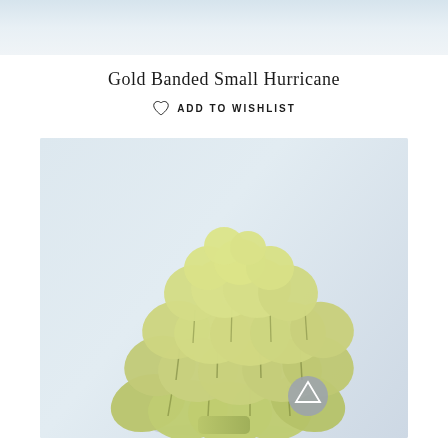[Figure (photo): Top light blue/grey gradient banner strip]
Gold Banded Small Hurricane
♡ ADD TO WISHLIST
[Figure (photo): Photo of an artichoke-shaped ceramic hurricane candle holder in sage/olive green color, photographed against a light grey-blue background. A small circular grey logo badge is visible in the lower right area of the image.]